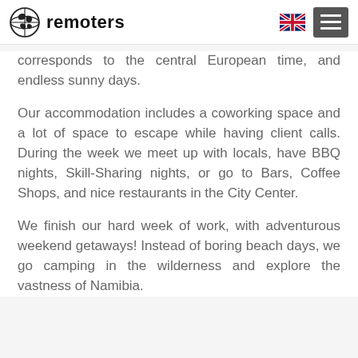remoters
corresponds to the central European time, and endless sunny days.
Our accommodation includes a coworking space and a lot of space to escape while having client calls. During the week we meet up with locals, have BBQ nights, Skill-Sharing nights, or go to Bars, Coffee Shops, and nice restaurants in the City Center.
We finish our hard week of work, with adventurous weekend getaways! Instead of boring beach days, we go camping in the wilderness and explore the vastness of Namibia.